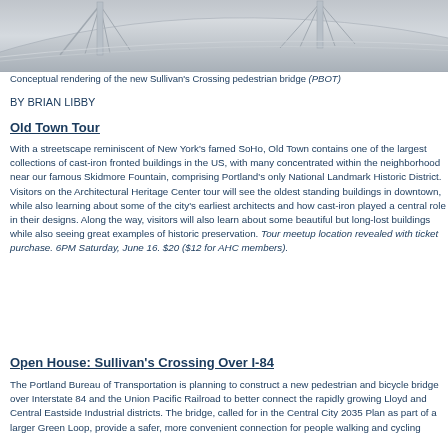[Figure (illustration): Conceptual rendering of the new Sullivan's Crossing pedestrian bridge, showing a curved bridge structure in gray tones]
Conceptual rendering of the new Sullivan's Crossing pedestrian bridge (PBOT)
BY BRIAN LIBBY
Old Town Tour
With a streetscape reminiscent of New York's famed SoHo, Old Town contains one of the largest collections of cast-iron fronted buildings in the US, with many concentrated within the neighborhood near our famous Skidmore Fountain, comprising Portland's only National Landmark Historic District. Visitors on the Architectural Heritage Center tour will see the oldest standing buildings in downtown, while also learning about some of the city's earliest architects and how cast-iron played a central role in their designs. Along the way, visitors will also learn about some beautiful but long-lost buildings while also seeing great examples of historic preservation. Tour meetup location revealed with ticket purchase. 6PM Saturday, June 16. $20 ($12 for AHC members).
Open House: Sullivan's Crossing Over I-84
The Portland Bureau of Transportation is planning to construct a new pedestrian and bicycle bridge over Interstate 84 and the Union Pacific Railroad to better connect the rapidly growing Lloyd and Central Eastside Industrial districts. The bridge, called for in the Central City 2035 Plan as part of a larger Green Loop, will provide a safer, more convenient connection for people walking and cycling